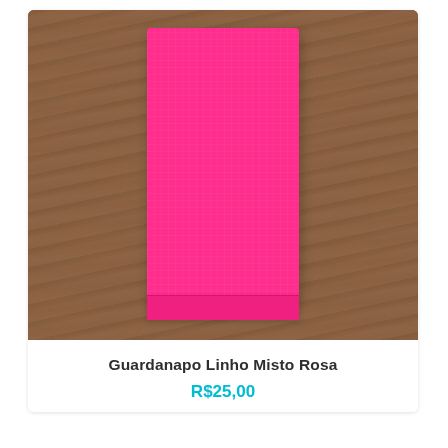[Figure (photo): A folded bright pink linen napkin (Guardanapo Linho Misto Rosa) photographed on a wooden surface background.]
Guardanapo Linho Misto Rosa
R$25,00